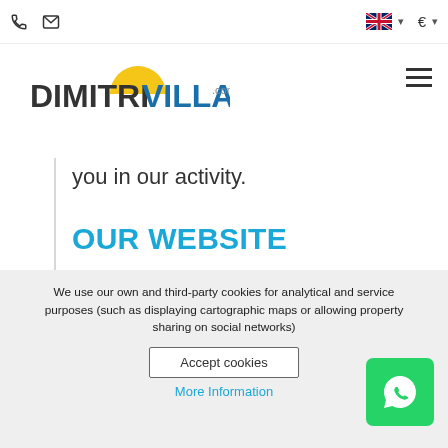DIMITRIVILLA.com — navigation header with phone, email, language, currency controls and hamburger menu
you in our activity.
OUR WEBSITE
On these pages you will find information about our services and our constantly updated
We use our own and third-party cookies for analytical and service purposes (such as displaying cartographic maps or allowing property sharing on social networks)
Accept cookies
More Information